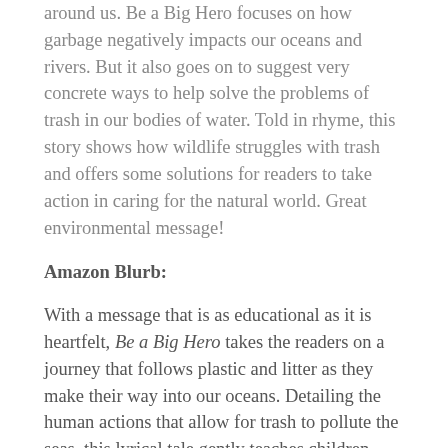around us. Be a Big Hero focuses on how garbage negatively impacts our oceans and rivers. But it also goes on to suggest very concrete ways to help solve the problems of trash in our bodies of water. Told in rhyme, this story shows how wildlife struggles with trash and offers some solutions for readers to take action in caring for the natural world. Great environmental message!
Amazon Blurb:
With a message that is as educational as it is heartfelt, Be a Big Hero takes the readers on a journey that follows plastic and litter as they make their way into our oceans. Detailing the human actions that allow for trash to pollute the seas, this lyrical tale gently teaches children about the harmful effects of littering and the overuse of plastic on the environment. With uplifting words and encouragement, this book explores the ways in which we can all be heroes- and how we can help take steps to be better global citizens.